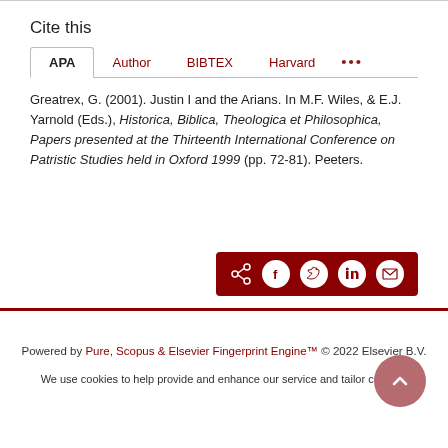Cite this
APA  Author  BIBTEX  Harvard  ...
Greatrex, G. (2001). Justin I and the Arians. In M.F. Wiles, & E.J. Yarnold (Eds.), Historica, Biblica, Theologica et Philosophica, Papers presented at the Thirteenth International Conference on Patristic Studies held in Oxford 1999 (pp. 72-81). Peeters.
[Figure (other): Social share buttons bar (dark red background) with icons for share, Facebook, Twitter, LinkedIn, and email]
Powered by Pure, Scopus & Elsevier Fingerprint Engine™ © 2022 Elsevier B.V.
We use cookies to help provide and enhance our service and tailor content.